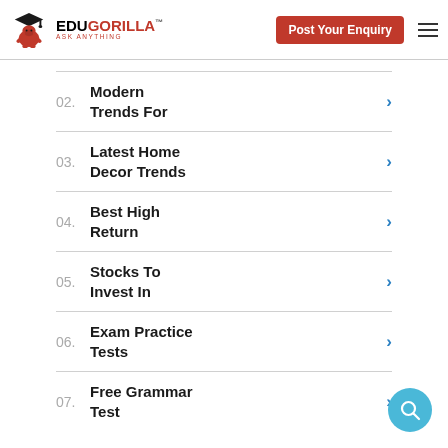EduGorilla ASK ANYTHING — Post Your Enquiry
02. Modern Trends For
03. Latest Home Decor Trends
04. Best High Return
05. Stocks To Invest In
06. Exam Practice Tests
07. Free Grammar Test